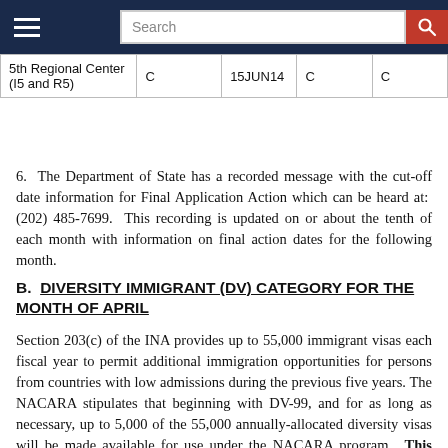| 5th Regional Center (I5 and R5) | C | 15JUN14 | C | C |
6.  The Department of State has a recorded message with the cut-off date information for Final Application Action which can be heard at:  (202) 485-7699.  This recording is updated on or about the tenth of each month with information on final action dates for the following month.
B.  DIVERSITY IMMIGRANT (DV) CATEGORY FOR THE MONTH OF APRIL
Section 203(c) of the INA provides up to 55,000 immigrant visas each fiscal year to permit additional immigration opportunities for persons from countries with low admissions during the previous five years. The NACARA stipulates that beginning with DV-99, and for as long as necessary, up to 5,000 of the 55,000 annually-allocated diversity visas will be made available for use under the NACARA program.  This resulted in reduction of the DV-2017...